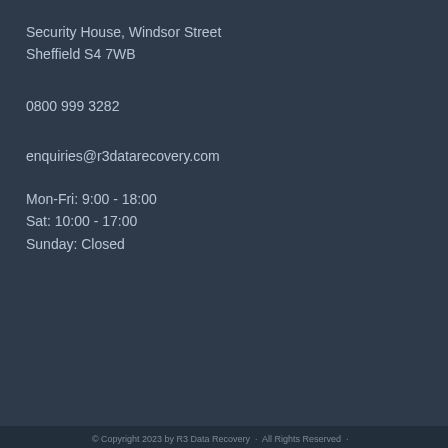Security House, Windsor Street
Sheffield S4 7WB
0800 999 3282
enquiries@r3datarecovery.com
Mon-Fri: 9:00 - 18:00
Sat: 10:00 - 17:00
Sunday: Closed
[Figure (photo): A blurred/unclear image placeholder with a dark blue-grey gradient background]
© Copyright 2023 by R3 Data Recovery · All Rights Reserved · ...